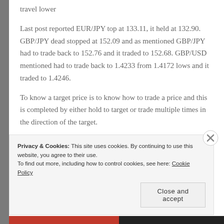travel lower
Last post reported EUR/JPY top at 133.11, it held at 132.90. GBP/JPY dead stopped at 152.09 and as mentioned GBP/JPY had to trade back to 152.76 and it traded to 152.68. GBP/USD mentioned had to trade back to 1.4233 from 1.4172 lows and it traded to 1.4246.
To know a target price is to know how to trade a price and this is completed by either hold to target or trade multiple times in the direction of the target.
Privacy & Cookies: This site uses cookies. By continuing to use this website, you agree to their use.
To find out more, including how to control cookies, see here: Cookie Policy
Close and accept